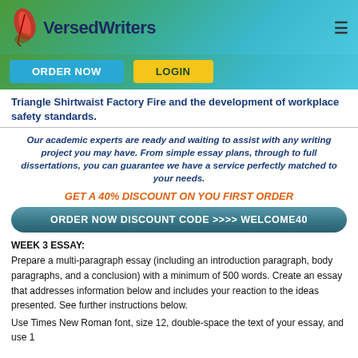[Figure (logo): VersedWriters logo with red feather quill and dark blue text on green-to-teal gradient header]
ORDER NOW   LOGIN
Triangle Shirtwaist Factory Fire and the development of workplace safety standards.
Our academic experts are ready and waiting to assist with any writing project you may have. From simple essay plans, through to full dissertations, you can guarantee we have a service perfectly matched to your needs.
GET A 40% DISCOUNT ON YOU FIRST ORDER
ORDER NOW DISCOUNT CODE >>>> WELCOME40
WEEK 3 ESSAY:
Prepare a multi-paragraph essay (including an introduction paragraph, body paragraphs, and a conclusion) with a minimum of 500 words. Create an essay that addresses information below and includes your reaction to the ideas presented. See further instructions below.
Use Times New Roman font, size 12, double-space the text of your essay, and use 1